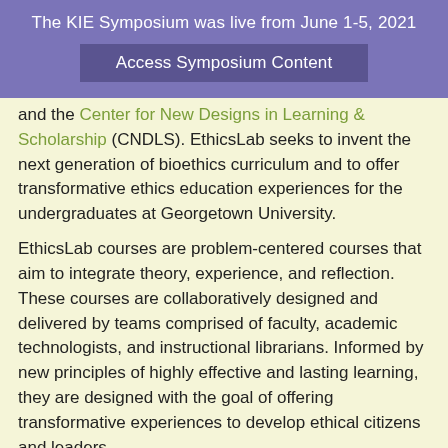The KIE Symposium was live from June 1-5, 2021
Access Symposium Content
and the Center for New Designs in Learning & Scholarship (CNDLS). EthicsLab seeks to invent the next generation of bioethics curriculum and to offer transformative ethics education experiences for the undergraduates at Georgetown University.
EthicsLab courses are problem-centered courses that aim to integrate theory, experience, and reflection. These courses are collaboratively designed and delivered by teams comprised of faculty, academic technologists, and instructional librarians. Informed by new principles of highly effective and lasting learning, they are designed with the goal of offering transformative experiences to develop ethical citizens and leaders.
Maggie Little, Director of the KIE, and Randy Bass, Director of CNDLS, are team teaching “Bioethics